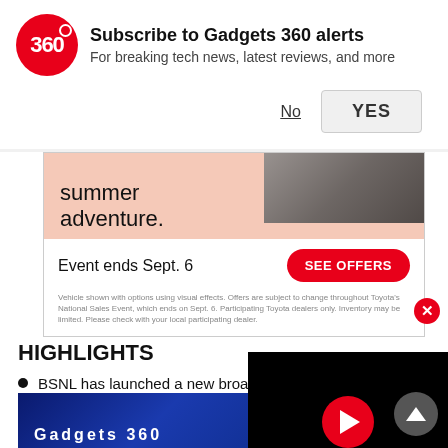[Figure (screenshot): Gadgets 360 push notification prompt with red circular logo, title 'Subscribe to Gadgets 360 alerts', subtitle 'For breaking tech news, latest reviews, and more', and No/YES buttons]
[Figure (photo): Toyota National Sales Event advertisement showing 'summer adventure.' text, car image, 'Event ends Sept. 6' and 'SEE OFFERS' button, with fine print disclaimer]
By Ankit Chawla | Updated: 13 December 2018 1...
HIGHLIGHTS
BSNL has launched a new broadband ca...
The offer is valid for new and existing use...
BSNL has not specified the maximum amount in the offer
[Figure (screenshot): Video player overlay showing black background with red circular play button]
[Figure (photo): Blue themed image at bottom with white text, partially visible]